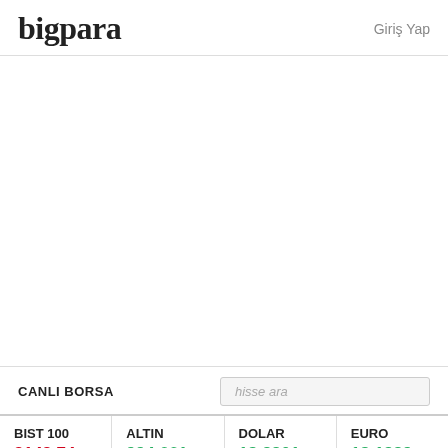bigpara   Giriş Yap
CANLI BORSA
| BIST 100 | ALTIN | DOLAR | EURO |
| --- | --- | --- | --- |
| 3142,74 | 994,661 | 18,2201 | 18,1339 |